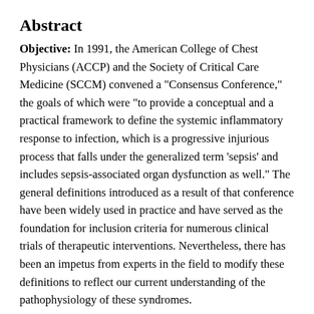Abstract
Objective: In 1991, the American College of Chest Physicians (ACCP) and the Society of Critical Care Medicine (SCCM) convened a "Consensus Conference," the goals of which were "to provide a conceptual and a practical framework to define the systemic inflammatory response to infection, which is a progressive injurious process that falls under the generalized term 'sepsis' and includes sepsis-associated organ dysfunction as well." The general definitions introduced as a result of that conference have been widely used in practice and have served as the foundation for inclusion criteria for numerous clinical trials of therapeutic interventions. Nevertheless, there has been an impetus from experts in the field to modify these definitions to reflect our current understanding of the pathophysiology of these syndromes.